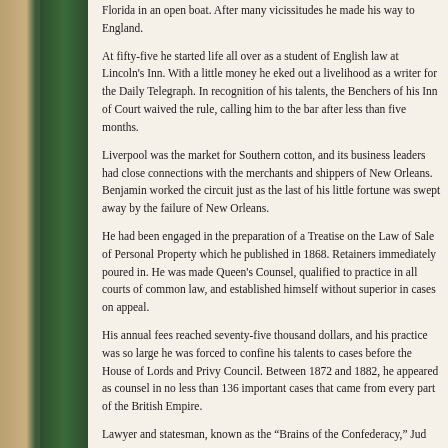Florida in an open boat. After many vicissitudes he made his way to England.
At fifty-five he started life all over as a student of English law at Lincoln's Inn. With a little money he eked out a livelihood as a writer for the Daily Telegraph. In recognition of his talents, the Benchers of his Inn of Court waived the rule, calling him to the bar after less than five months.
Liverpool was the market for Southern cotton, and its business leaders had close connections with the merchants and shippers of New Orleans. Benjamin worked the circuit just as the last of his little fortune was swept away by the failure of New Orleans.
He had been engaged in the preparation of a Treatise on the Law of Sale of Personal Property which he published in 1868. Retainers immediately poured in. He was made Queen's Counsel, qualified to practice in all courts of common law, and established himself without superior in cases on appeal.
His annual fees reached seventy-five thousand dollars, and his practice was so large he was forced to confine his talents to cases before the House of Lords and Privy Council. Between 1872 and 1882, he appeared as counsel in no less than 136 important cases that came from every part of the British Empire.
Lawyer and statesman, known as the “Brains of the Confederacy,” Jud